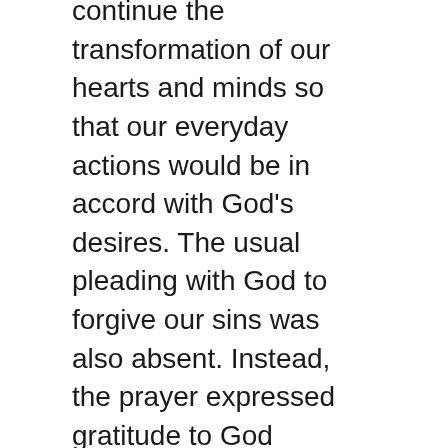continue the transformation of our hearts and minds so that our everyday actions would be in accord with God's desires. The usual pleading with God to forgive our sins was also absent. Instead, the prayer expressed gratitude to God because He had already forgiven us once and for all when Jesus sacrificed Himself to take away all of our sins – past, present and future!
Perhaps my biggest surprise occured when the singing began. I've never heard such beautiful and joyful singing in my congregation. It was self-evident that my siblings in the Lord were singing on this particular day not because they were compelled by a command to sing, but because it was a natural response to the